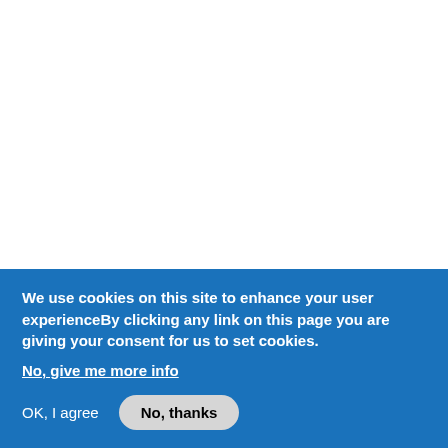Submitted by Khalid on Sun, 2007/08/19 - 14:14
We use cookies on this site to enhance your user experienceBy clicking any link on this page you are giving your consent for us to set cookies.
No, give me more info
OK, I agree
No, thanks